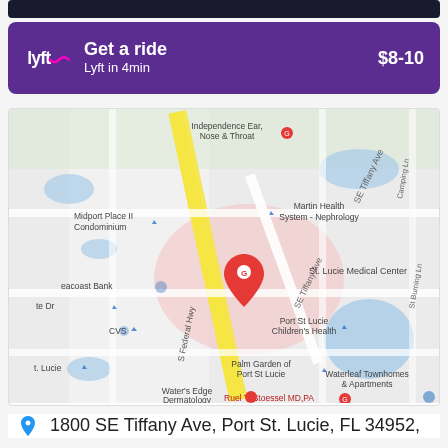[Figure (screenshot): Dark top navigation bar]
[Figure (screenshot): Lyft ride banner showing 'Get a ride', 'Lyft in 4min', price '$8-10' on purple background with Lyft logo]
[Figure (map): Google Maps screenshot showing St. Lucie Medical Center at 1800 SE Tiffany Ave, Port St. Lucie, FL 34952. Map shows surrounding landmarks including Martin Health System Nephrology, Port St Lucie Children's Health, CVS, Palm Garden of Port St Lucie, Waterleaf Townhomes & Apartments, Water's Edge Dermatology, Independence Ear Nose & Throat, Midport Place II Condominium, Seacoast Bank, Ruel T. Stoessel MD PA. Red pin marker on St. Lucie Medical Center. S Federal Hwy and SE Tiffany Ave visible.]
1800 SE Tiffany Ave, Port St. Lucie, FL 34952,